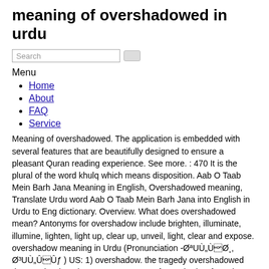meaning of overshadowed in urdu
Search
Menu
Home
About
FAQ
Service
Meaning of overshadowed. The application is embedded with several features that are beautifully designed to ensure a pleasant Quran reading experience. See more. : 470 It is the plural of the word khulq which means disposition. Aab O Taab Mein Barh Jana Meaning in English, Overshadowed meaning, Translate Urdu word Aab O Taab Mein Barh Jana into English in Urdu to Eng dictionary. Overview. What does overshadowed mean? Antonyms for overshadow include brighten, illuminate, illumine, lighten, light up, clear up, unveil, light, clear and expose. overshadow meaning in Urdu (Pronunciation -ØªÙÙØظ, Ø³ÙÛÛ ) US: 1) overshadow. the tragedy overshadowed the couple's happiness. 23 synonyms of overshadow from the Merriam-Webster Thesaurus, plus 26 related words, definitions, and antonyms. Be greater in